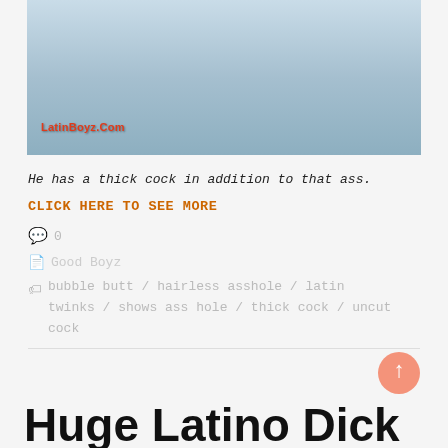[Figure (photo): Cropped photo of a person with a LatinBoyz.com watermark logo in red at the bottom left.]
He has a thick cock in addition to that ass.
CLICK HERE TO SEE MORE
0
Good Boyz
bubble butt / hairless asshole / latin twinks / shows ass hole / thick cock / uncut cock
Huge Latino Dick